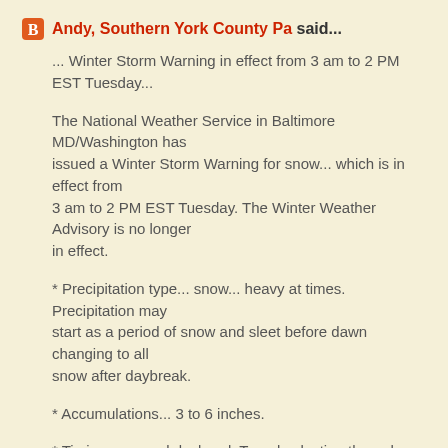Andy, Southern York County Pa said...
... Winter Storm Warning in effect from 3 am to 2 PM EST Tuesday...
The National Weather Service in Baltimore MD/Washington has issued a Winter Storm Warning for snow... which is in effect from 3 am to 2 PM EST Tuesday. The Winter Weather Advisory is no longer in effect.
* Precipitation type... snow... heavy at times. Precipitation may start as a period of snow and sleet before dawn changing to all snow after daybreak.
* Accumulations... 3 to 6 inches.
* Timing... around daybreak Tuesday lasting through early